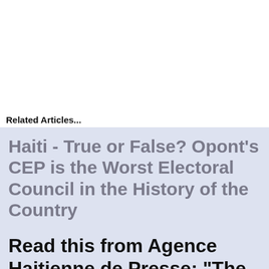Related Articles...
Haiti - True or False? Opont's CEP is the Worst Electoral Council in the History of the Country
Read this from Agence Haitienne de Presse: "The